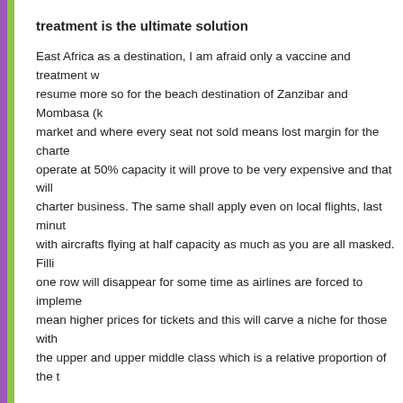treatment is the ultimate solution
East Africa as a destination, I am afraid only a vaccine and treatment w... resume more so for the beach destination of Zanzibar and Mombasa (k... market and where every seat not sold means lost margin for the charte... operate at 50% capacity it will prove to be very expensive and that will ... charter business. The same shall apply even on local flights, last minut... with aircrafts flying at half capacity as much as you are all masked. Filli... one row will disappear for some time as airlines are forced to impleme... mean higher prices for tickets and this will carve a niche for those with... the upper and upper middle class which is a relative proportion of the t...
In the international market the era of jumping into an aircraft and headi... be gone. Couples, families and other travellers will think numerous time... the uncertainty prevailing across the world.
Many of our potential clients will have been furloughed and others will h... Holidays will be the last thing on their mind. Financial woes will be a pr... the support measures, meaning everyone has to support themselves. V... take time for those without work to secure income and consider travel. ... uncertainty and unknown as to what the future will hold. What was the... with people thinking about holidays. Priority will be welfare, source of in... dealing with the loss of loved ones they never even managed to see...